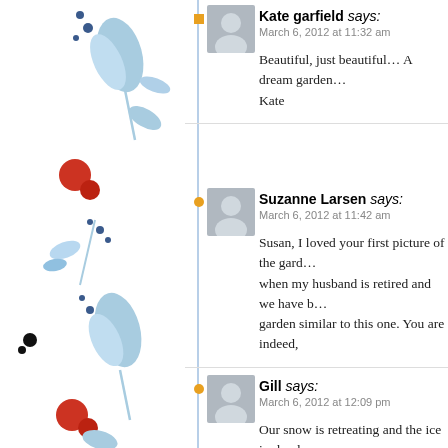[Figure (illustration): Decorative blue floral/botanical illustration on the left side with red berries and blue flower shapes on a white background]
Kate garfield says:
March 6, 2012 at 11:32 am

Beautiful, just beautiful… A dream garden…
Kate
Suzanne Larsen says:
March 6, 2012 at 11:42 am

Susan, I loved your first picture of the gard… when my husband is retired and we have b… garden similar to this one. You are indeed,
Gill says:
March 6, 2012 at 12:09 pm

Our snow is retreating and the ice is slowly…